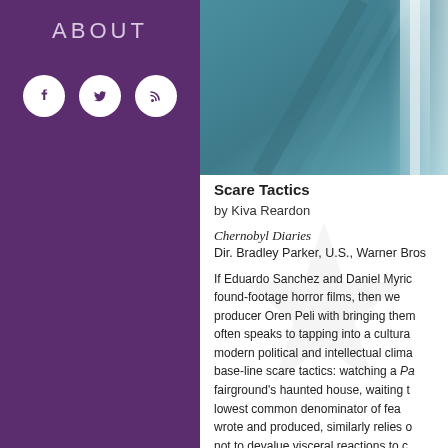ABOUT
[Figure (illustration): Social media icons: Facebook, Twitter, RSS feed, shown as white icons in white circles on purple background]
[Figure (photo): Abstract teal/blue photographic image, appears to show diagonal architectural or natural lines with light reflection]
Scare Tactics
by Kiva Reardon
Chernobyl Diaries
Dir. Bradley Parker, U.S., Warner Bros
If Eduardo Sanchez and Daniel Myric found-footage horror films, then we producer Oren Peli with bringing them often speaks to tapping into a cultura modern political and intellectual clima base-line scare tactics: watching a Pa fairground's haunted house, waiting t lowest common denominator of fea wrote and produced, similarly relies o not to devalue visceral reactions to c case, they are unearned. Peli's films f